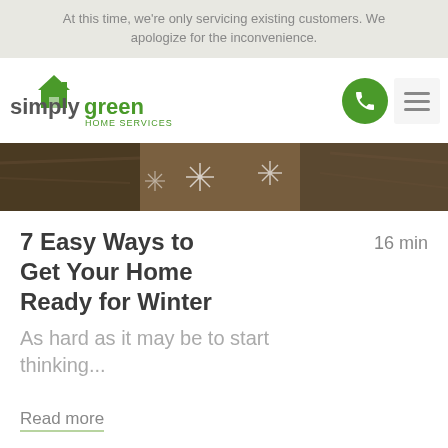At this time, we're only servicing existing customers. We apologize for the inconvenience.
[Figure (logo): Simply Green Home Services logo with green house icon and green text]
[Figure (photo): Hero image showing winter-themed decorations with snowflakes on dark wooden background]
7 Easy Ways to Get Your Home Ready for Winter
16 min
As hard as it may be to start thinking...
Read more